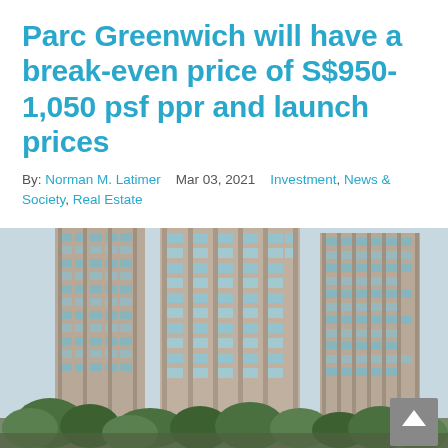Parc Greenwich will have a break-even price of S$950-1,050 psf ppr and launch prices
By: Norman M. Latimer   Mar 03, 2021   Investment, News & Society, Real Estate
[Figure (photo): Exterior photo of a tall high-rise residential condominium building taken from ground level looking upward, beige and grey facade with balconies and windows, lush green trees visible at the bottom.]